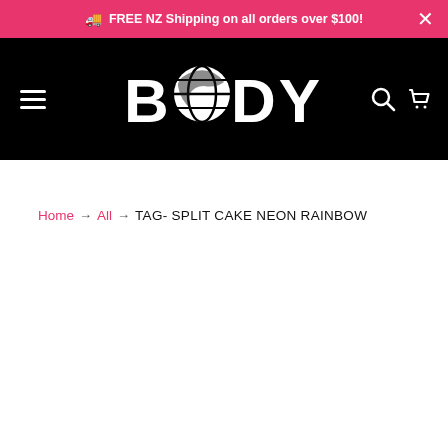🚚 FREE NZ Shipping on all orders over $100! ×
[Figure (logo): BodyFX logo in white on black background with hamburger menu on left and search/cart icons on right]
Home → All → TAG- SPLIT CAKE NEON RAINBOW